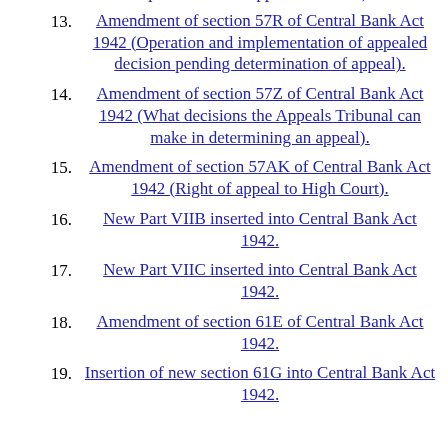powers of the Appeals Tribunal).
13. Amendment of section 57R of Central Bank Act 1942 (Operation and implementation of appealed decision pending determination of appeal).
14. Amendment of section 57Z of Central Bank Act 1942 (What decisions the Appeals Tribunal can make in determining an appeal).
15. Amendment of section 57AK of Central Bank Act 1942 (Right of appeal to High Court).
16. New Part VIIB inserted into Central Bank Act 1942.
17. New Part VIIC inserted into Central Bank Act 1942.
18. Amendment of section 61E of Central Bank Act 1942.
19. Insertion of new section 61G into Central Bank Act 1942.